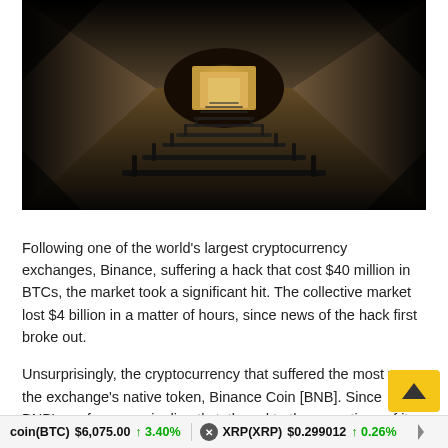[Figure (photo): A dark underground tunnel or corridor with metal railings/bars receding toward a bright light source at the far end. Concrete walls and floor visible, dramatic perspective shot.]
Following one of the world's largest cryptocurrency exchanges, Binance, suffering a hack that cost $40 million in BTCs, the market took a significant hit. The collective market lost $4 billion in a matter of hours, since news of the hack first broke out.
Unsurprisingly, the cryptocurrency that suffered the most was the exchange's native token, Binance Coin [BNB]. Since BNB's performance is directly tethered to the operations of its exc
coin(BTC) $6,075.00 ↑ 3.40%   XRP(XRP) $0.299012 ↑ 0.26%